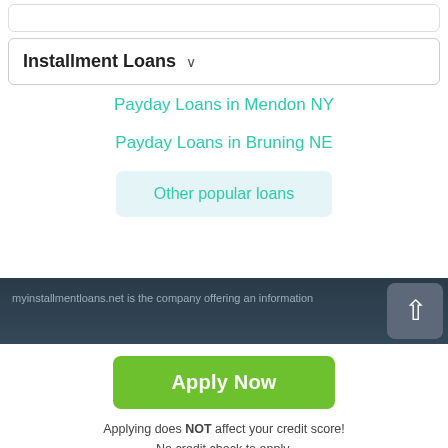Installment Loans
Payday Loans in Mendon NY
Payday Loans in Bruning NE
Other popular loans
myinstallmentloans.net is the company offering an information
Apply Now
Applying does NOT affect your credit score!
No credit check to apply.